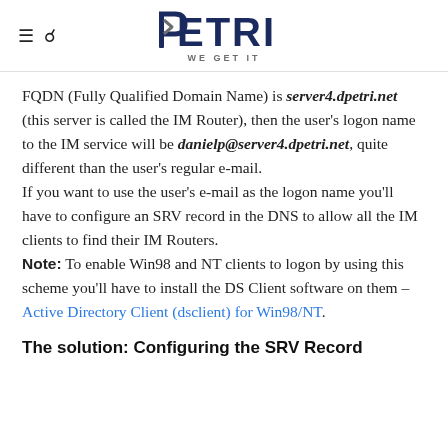PETRI — WE GET IT
FQDN (Fully Qualified Domain Name) is server4.dpetri.net (this server is called the IM Router), then the user's logon name to the IM service will be danielp@server4.dpetri.net, quite different than the user's regular e-mail.
If you want to use the user's e-mail as the logon name you'll have to configure an SRV record in the DNS to allow all the IM clients to find their IM Routers.
Note: To enable Win98 and NT clients to logon by using this scheme you'll have to install the DS Client software on them – Active Directory Client (dsclient) for Win98/NT.
The solution: Configuring the SRV Record